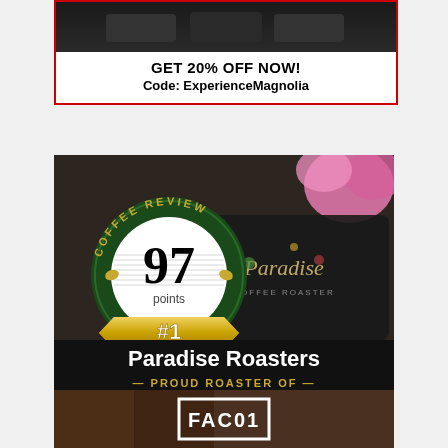[Figure (infographic): Red-bordered advertisement with black product image at top and promotional text 'GET 20% OFF NOW! Code: ExperienceMagnolia']
[Figure (infographic): Paradise Roasters advertisement featuring a Coffee Review badge with 97 points and #1 ribbon, background photo of coffee packaging, and text 'Paradise Roasters — PROUD ROASTER OF — Coffee Review's No. 1 Coffee in 2021']
[Figure (photo): Partial view of a coffee-related advertisement showing 'FAC01' text in a white bordered box over a dark brown background with hands holding coffee]